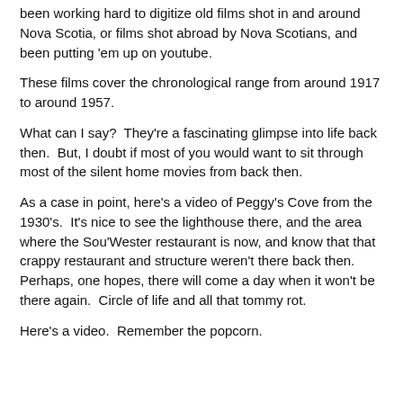been working hard to digitize old films shot in and around Nova Scotia, or films shot abroad by Nova Scotians, and been putting 'em up on youtube.
These films cover the chronological range from around 1917 to around 1957.
What can I say?  They're a fascinating glimpse into life back then.  But, I doubt if most of you would want to sit through most of the silent home movies from back then.
As a case in point, here's a video of Peggy's Cove from the 1930's.  It's nice to see the lighthouse there, and the area where the Sou'Wester restaurant is now, and know that that crappy restaurant and structure weren't there back then.  Perhaps, one hopes, there will come a day when it won't be there again.  Circle of life and all that tommy rot.
Here's a video.  Remember the popcorn.